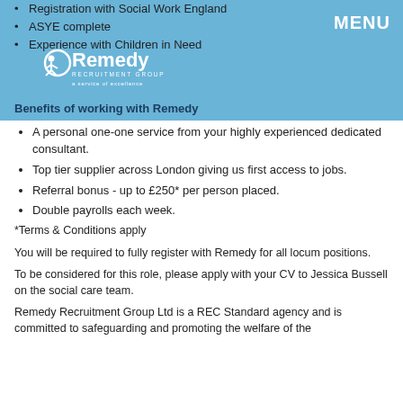Registration with Social Work England
ASYE complete
Experience with Children in Need
[Figure (logo): Remedy Recruitment Group logo with tagline 'a service of excellence']
Benefits of working with Remedy
A personal one-one service from your highly experienced dedicated consultant.
Top tier supplier across London giving us first access to jobs.
Referral bonus - up to £250* per person placed.
Double payrolls each week.
*Terms & Conditions apply
You will be required to fully register with Remedy for all locum positions.
To be considered for this role, please apply with your CV to Jessica Bussell on the social care team.
Remedy Recruitment Group Ltd is a REC Standard agency and is committed to safeguarding and promoting the welfare of the